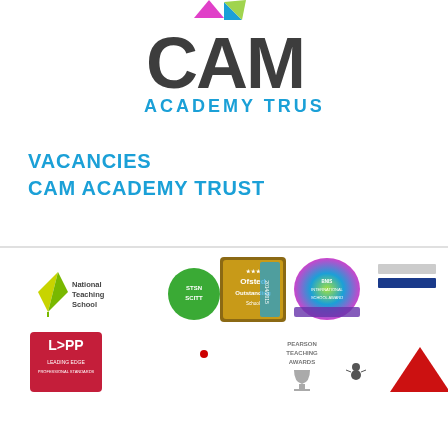[Figure (logo): THE CAM ACADEMY TRUST logo with colourful triangular icon, large dark grey CAM text, and cyan ACADEMY TRUST text below]
VACANCIES
CAM ACADEMY TRUST
[Figure (infographic): Row of award and accreditation logos: National Teaching School, STSN SCITT, Ofsted Outstanding 2014/2015, BNIS International School Award, Leading Edge Professional Standards, Pearson Teaching Awards, and other award badges]